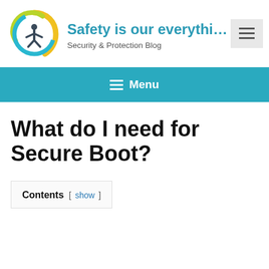[Figure (logo): Circular logo with blue and green swirl rings and a person icon in the center, representing safety/accessibility]
Safety is our everythi...
Security & Protection Blog
[Figure (other): Hamburger menu icon button]
≡ Menu
What do I need for Secure Boot?
Contents [ show ]